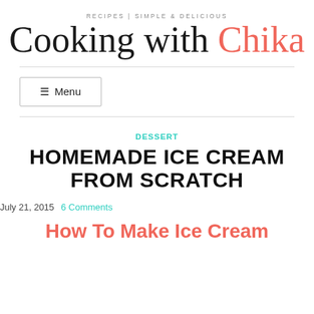RECIPES | SIMPLE & DELICIOUS
Cooking with Chika
☰ Menu
DESSERT
HOMEMADE ICE CREAM FROM SCRATCH
July 21, 2015  6 Comments
How To Make Ice Cream